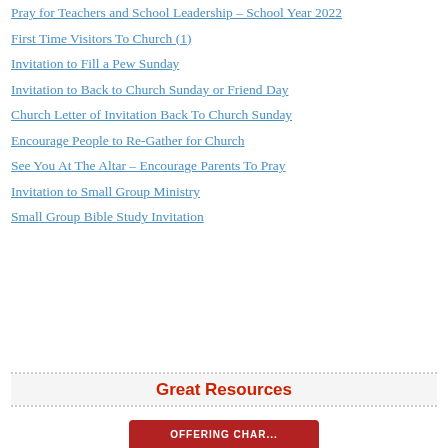Pray for Teachers and School Leadership – School Year 2022
First Time Visitors To Church (1)
Invitation to Fill a Pew Sunday
Invitation to Back to Church Sunday or Friend Day
Church Letter of Invitation Back To Church Sunday
Encourage People to Re-Gather for Church
See You At The Altar – Encourage Parents To Pray
Invitation to Small Group Ministry
Small Group Bible Study Invitation
Great Resources
[Figure (illustration): Red banner/button graphic with text 'OFFERING CHART' or similar promotional banner]